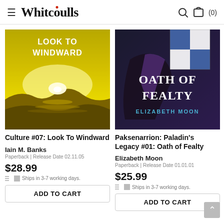≡ Whitcoulls 🔍 🛒 (0)
[Figure (photo): Book cover of 'Look To Windward' by Iain M. Banks - yellow/golden sunset landscape with text 'LOOK TO WINDWARD']
Culture #07: Look To Windward
Iain M. Banks
Paperback | Release Date 02.11.05
$28.99
Ships in 3-7 working days.
ADD TO CART
[Figure (photo): Book cover of 'Oath of Fealty' by Elizabeth Moon - dark cover with flags and title 'OATH OF FEALTY ELIZABETH MOON']
Paksenarrion: Paladin's Legacy #01: Oath of Fealty
Elizabeth Moon
Paperback | Release Date 01.01.01
$25.99
Ships in 3-7 working days.
ADD TO CART